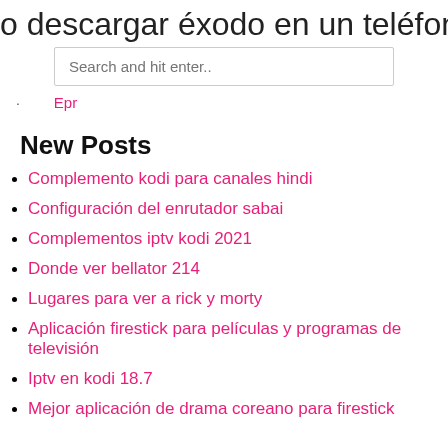o descargar éxodo en un teléfono an
Search and hit enter..
Epr
New Posts
Complemento kodi para canales hindi
Configuración del enrutador sabai
Complementos iptv kodi 2021
Donde ver bellator 214
Lugares para ver a rick y morty
Aplicación firestick para películas y programas de televisión
Iptv en kodi 18.7
Mejor aplicación de drama coreano para firestick